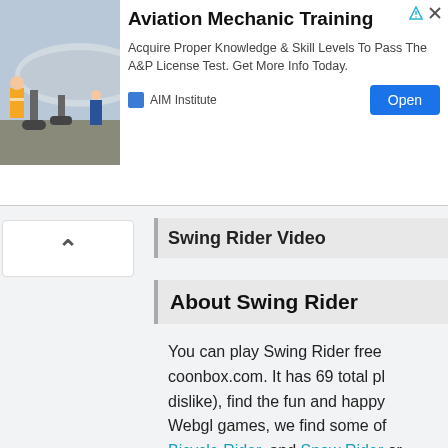[Figure (photo): Advertisement banner showing aviation mechanics working under an aircraft. AIM Institute ad for Aviation Mechanic Training.]
Aviation Mechanic Training
Acquire Proper Knowledge & Skill Levels To Pass The A&P License Test. Get More Info Today.
AIM Institute
Swing Rider Video
About Swing Rider
You can play Swing Rider free coonbox.com. It has 69 total pl dislike), find the fun and happy Webgl games, we find some of Bicycle Rider, and Snow Rider or page.